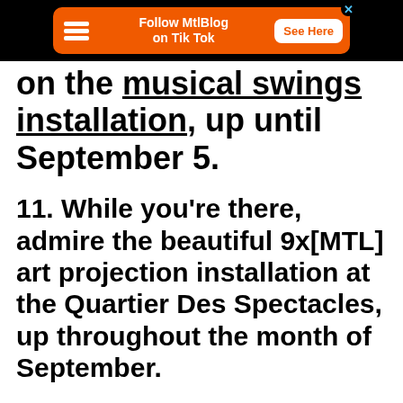[Figure (other): Orange advertisement banner for MtlBlog on TikTok with a 'See Here' button, on a black top bar background]
on the musical swings installation, up until September 5.
11. While you're there, admire the beautiful 9x[MTL] art projection installation at the Quartier Des Spectacles, up throughout the month of September.